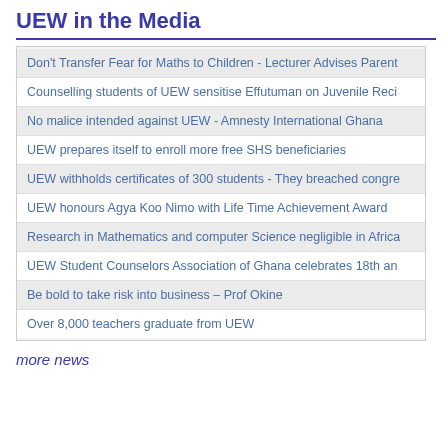UEW in the Media
Don't Transfer Fear for Maths to Children - Lecturer Advises Parent
Counselling students of UEW sensitise Effutuman on Juvenile Reci
No malice intended against UEW - Amnesty International Ghana
UEW prepares itself to enroll more free SHS beneficiaries
UEW withholds certificates of 300 students - They breached congre
UEW honours Agya Koo Nimo with Life Time Achievement Award
Research in Mathematics and computer Science negligible in Africa
UEW Student Counselors Association of Ghana celebrates 18th an
Be bold to take risk into business – Prof Okine
Over 8,000 teachers graduate from UEW
more news